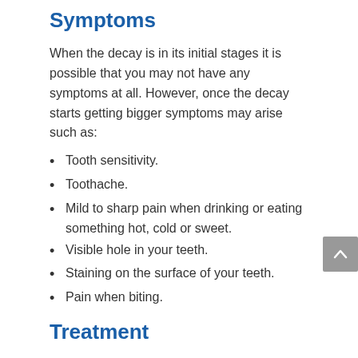Symptoms
When the decay is in its initial stages it is possible that you may not have any symptoms at all. However, once the decay starts getting bigger symptoms may arise such as:
Tooth sensitivity.
Toothache.
Mild to sharp pain when drinking or eating something hot, cold or sweet.
Visible hole in your teeth.
Staining on the surface of your teeth.
Pain when biting.
Treatment
The sooner a teeth cavity is addressed the more